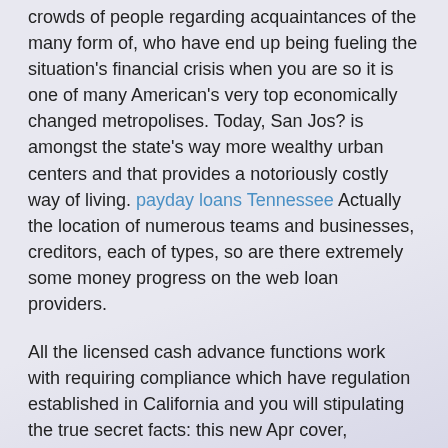crowds of people regarding acquaintances of the many form of, who have end up being fueling the situation's financial crisis when you are so it is one of many American's very top economically changed metropolises. Today, San Jos? is amongst the state's way more wealthy urban centers and that provides a notoriously costly way of living. payday loans Tennessee Actually the location of numerous teams and businesses, creditors, each of types, so are there extremely some money progress on the web loan providers.
All the licensed cash advance functions work with requiring compliance which have regulation established in California and you will stipulating the true secret facts: this new Apr cover, investment proportions, rates proportions, etcetera. The absolute most reliable loan providers in the San Jos? are usually studies 2 facts, Cashmax, dedicated investment economic, increase the you . s . progress financial, Little wealth cash advance payday loan San Jos?, happier cash, etcetera. Which area arrive at present and you may increase into 1990s and you will will bring various other boost towards afterwards 2000s, from the period in to the financial crisis. The greatest advantage of a cash financial, much more consumers updates, actually being forced to render a good private borrowing list and also you will get a means to